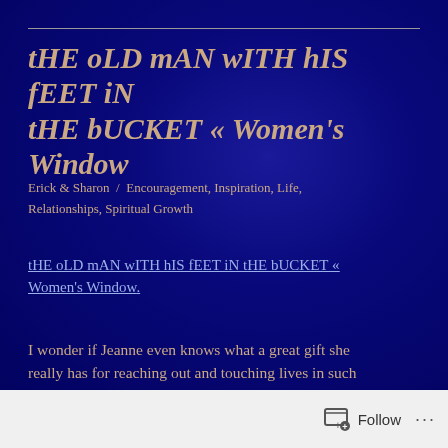tHE oLD mAN wITH hIS fEET iN tHE bUCKET « Women's Window
Erick & Sharon  /  Encouragement, Inspiration, Life, Relationships, Spiritual Growth
tHE oLD mAN wITH hIS fEET iN tHE bUCKET « Women's Window.
I wonder if Jeanne even knows what a great gift she really has for reaching out and touching lives in such poignant ways–through simply expressing what touches her.
Follow ...